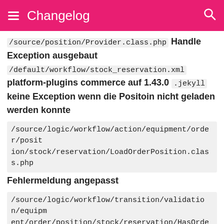Changelog
/source/position/Provider.class.php Handle Exception ausgebaut /default/workflow/stock_reservation.xml platform-plugins commerce auf 1.43.0 .jekyll keine Exception wenn die Positoin nicht geladen werden konnte
/source/logic/workflow/action/equipment/order/position/stock/reservation/LoadOrderPosition.class.php Fehlermeldung angepasst
/source/logic/workflow/transition/validation/equipment/order/position/stock/reservation/HasOrderPosition.class.php
Hinzugefügt
neuer Presenter
/source/presenter/api/order/position/StockReservation.class.php